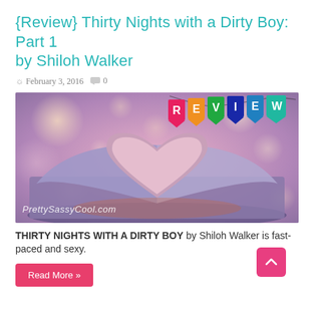{Review} Thirty Nights with a Dirty Boy: Part 1 by Shiloh Walker
February 3, 2016   0
[Figure (photo): Book with pages folded into a heart shape, bokeh background, with colorful REVIEW banner flags at top right and PrettySassyCool.com watermark at bottom left]
THIRTY NIGHTS WITH A DIRTY BOY by Shiloh Walker is fast-paced and sexy.
Read More »